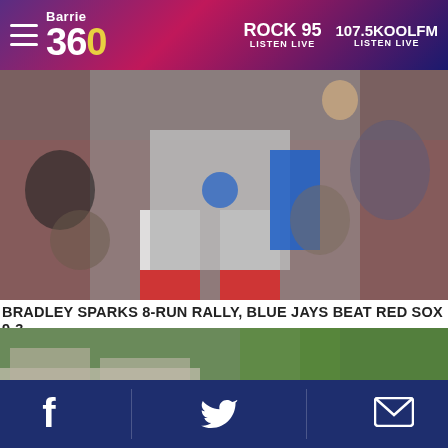Barrie 360 — ROCK 95 LISTEN LIVE | 107.5KOOLFM LISTEN LIVE
[Figure (photo): Blurred photo of a Toronto Blue Jays baseball player in grey uniform celebrating, with red-clad fans in the background stands]
BRADLEY SPARKS 8-RUN RALLY, BLUE JAYS BEAT RED SOX 9-3
[Figure (photo): Aerial view of a construction site with a red fire truck and blue portable toilets on a road beside a multi-level concrete structure under construction with green trees in background]
Facebook | Twitter | Email